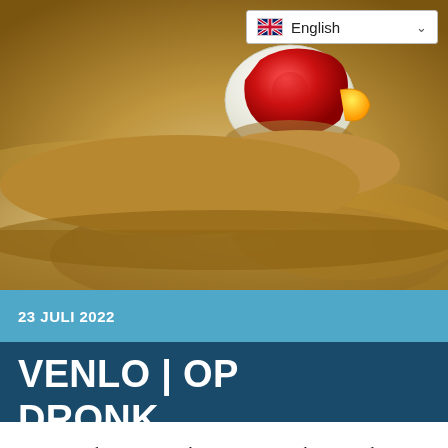[Figure (photo): Close-up photo of a beach volleyball partially buried in sand, showing red and white panels, with yellow trim, on golden sandy beach.]
English
23 JULI 2022
VENLO | OP DRONK
We use cookies on our website to give you the most relevant experience by remembering your preferences and repeat visits. By clicking “Accept All”, you consent to the use of ALL the cookies. However, you may visit “Cookie Settings” to provide a controlled consent.
Cookie Settings
Accept All